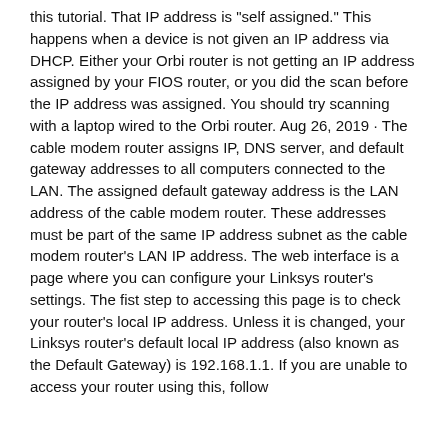this tutorial. That IP address is "self assigned." This happens when a device is not given an IP address via DHCP. Either your Orbi router is not getting an IP address assigned by your FIOS router, or you did the scan before the IP address was assigned. You should try scanning with a laptop wired to the Orbi router. Aug 26, 2019 · The cable modem router assigns IP, DNS server, and default gateway addresses to all computers connected to the LAN. The assigned default gateway address is the LAN address of the cable modem router. These addresses must be part of the same IP address subnet as the cable modem router's LAN IP address. The web interface is a page where you can configure your Linksys router's settings. The fist step to accessing this page is to check your router's local IP address. Unless it is changed, your Linksys router's default local IP address (also known as the Default Gateway) is 192.168.1.1. If you are unable to access your router using this, follow